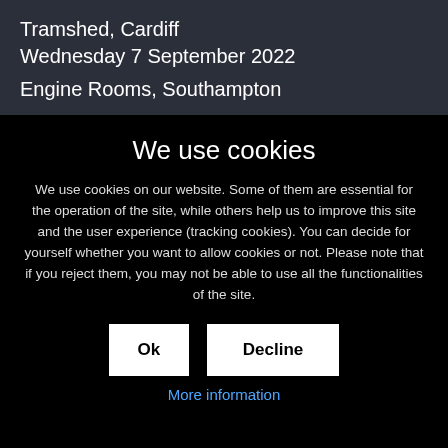Tramshed, Cardiff
Wednesday 7 September 2022
Engine Rooms, Southampton
We use cookies
We use cookies on our website. Some of them are essential for the operation of the site, while others help us to improve this site and the user experience (tracking cookies). You can decide for yourself whether you want to allow cookies or not. Please note that if you reject them, you may not be able to use all the functionalities of the site.
Ok
Decline
More information